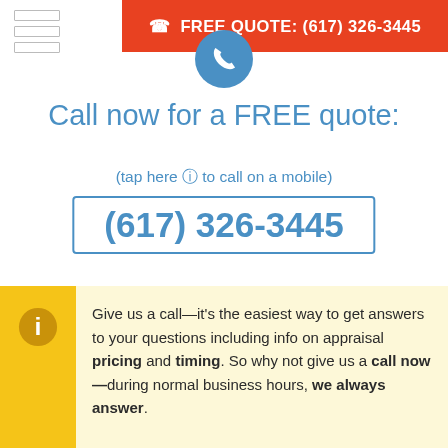FREE QUOTE: (617) 326-3445
[Figure (illustration): Blue circle with white phone handset icon]
Call now for a FREE quote:
(tap here ⊙ to call on a mobile)
(617) 326-3445
Give us a call—it's the easiest way to get answers to your questions including info on appraisal pricing and timing. So why not give us a call now—during normal business hours, we always answer.